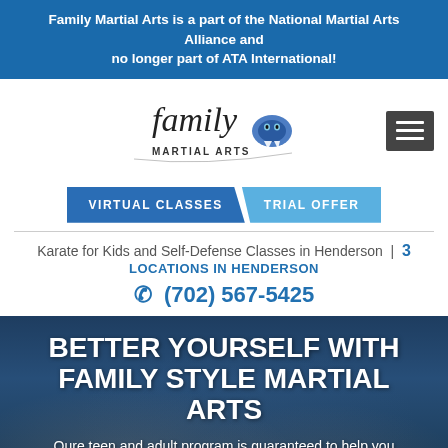Family Martial Arts is a part of the National Martial Arts Alliance and no longer part of ATA International!
[Figure (logo): Family Martial Arts logo with cursive 'family' text and 'MARTIAL ARTS' subtitle with snake/fang icon]
VIRTUAL CLASSES | TRIAL OFFER
Karate for Kids and Self-Defense Classes in Henderson | 3 LOCATIONS IN HENDERSON
(702) 567-5425
BETTER YOURSELF WITH FAMILY STYLE MARTIAL ARTS
Oure teen and adult program is guaranteed to help you build a healthier lifestyle.